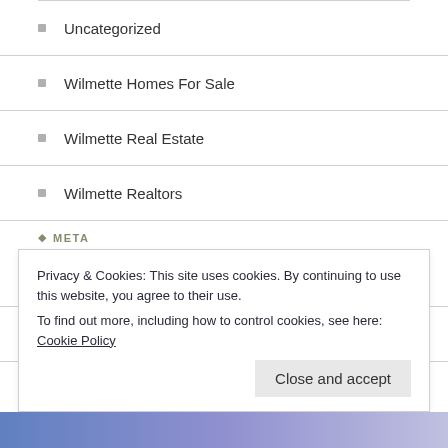Uncategorized
Wilmette Homes For Sale
Wilmette Real Estate
Wilmette Realtors
META
Register
Log in
Entries feed
Comments feed
WordPress.com
Privacy & Cookies: This site uses cookies. By continuing to use this website, you agree to their use.
To find out more, including how to control cookies, see here: Cookie Policy
Close and accept